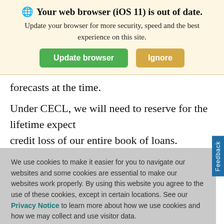[Figure (screenshot): Browser update notification banner with globe icon, title 'Your web browser (iOS 11) is out of date.', subtitle text, and two buttons: 'Update browser' (green) and 'Ignore' (tan/gold).]
forecasts at the time.
Under CECL, we will need to reserve for the lifetime expect credit loss of our entire book of loans. Therefore, once implemented, CECL will likely introduce more volatility to
We use cookies to make it easier for you to navigate our websites and some cookies are essential to make our websites work properly. By using this website you agree to the use of these cookies, except in certain locations. See our Privacy Notice to learn more about how we use cookies and how we may collect and use visitor data.